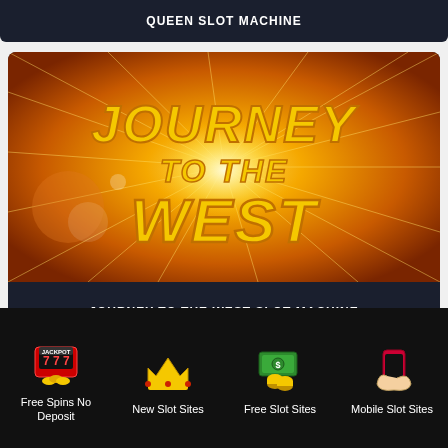QUEEN SLOT MACHINE
[Figure (illustration): Journey to the West slot machine game banner with golden sun-burst background and stylized golden text reading JOURNEY TO THE WEST]
JOURNEY TO THE WEST SLOT MACHINE
[Figure (illustration): Partial view of another slot machine card with purple background showing character images]
Free Spins No Deposit | New Slot Sites | Free Slot Sites | Mobile Slot Sites